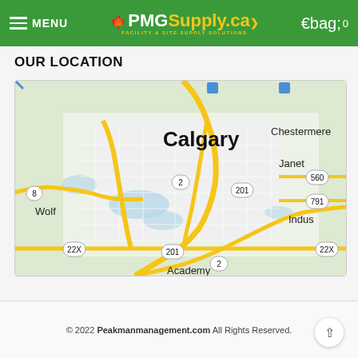MENU | PMGSupply.ca FACILITY & SITE SUPPLY SOLUTIONS
OUR LOCATION
[Figure (map): Google Map showing Calgary, Alberta and surrounding areas including Chestermere, Janet, Wolf, Indus, Academy. Roads labeled include routes 2, 8, 201, 560, 791, 22X shown with yellow highway indicators.]
© 2022 Peakmanmanagement.com All Rights Reserved.